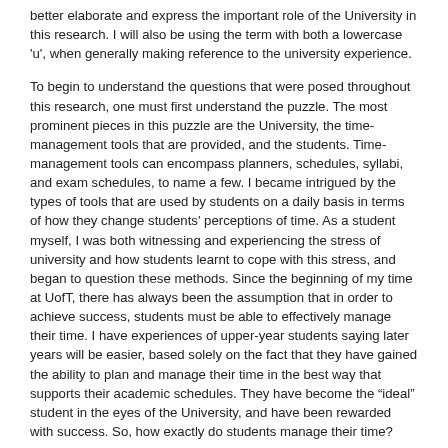better elaborate and express the important role of the University in this research. I will also be using the term with both a lowercase 'u', when generally making reference to the university experience.
To begin to understand the questions that were posed throughout this research, one must first understand the puzzle. The most prominent pieces in this puzzle are the University, the time-management tools that are provided, and the students. Time-management tools can encompass planners, schedules, syllabi, and exam schedules, to name a few. I became intrigued by the types of tools that are used by students on a daily basis in terms of how they change students' perceptions of time. As a student myself, I was both witnessing and experiencing the stress of university and how students learnt to cope with this stress, and began to question these methods. Since the beginning of my time at UofT, there has always been the assumption that in order to achieve success, students must be able to effectively manage their time. I have experiences of upper-year students saying later years will be easier, based solely on the fact that they have gained the ability to plan and manage their time in the best way that supports their academic schedules. They have become the “ideal” student in the eyes of the University, and have been rewarded with success. So, how exactly do students manage their time?
I first began my inquiry at the university bookstore, where I found the promotion and sale of agendas, planners, journals, and calendars, all with 'University of Toronto' plastered on the front. Initially, I thought of this as a means by which